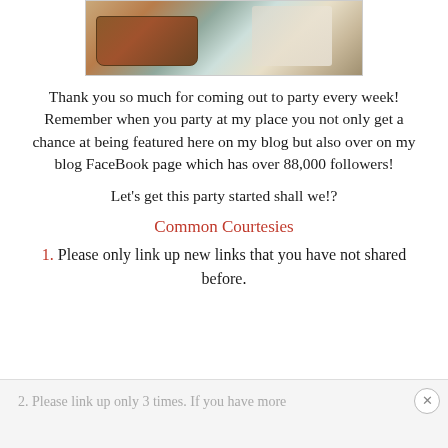[Figure (photo): Decorative banner image showing a vintage suitcase and floral/lace decorative elements with cursive text overlay]
Thank you so much for coming out to party every week! Remember when you party at my place you not only get a chance at being featured here on my blog but also over on my blog FaceBook page which has over 88,000 followers!
Let's get this party started shall we!?
Common Courtesies
1. Please only link up new links that you have not shared before.
2. Please link up only 3 times. If you have more